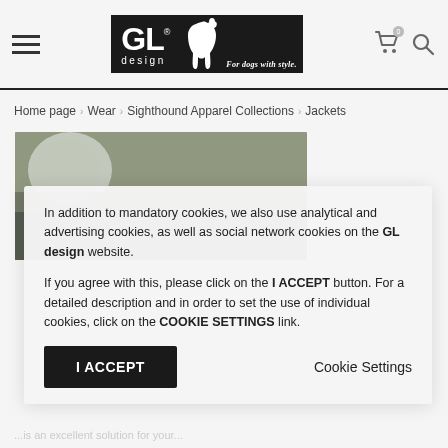[Figure (logo): GL design logo - black box with GL text, dog silhouette, 'design' text, and 'For dogs with style.' tagline]
Home page > Wear > Sighthound Apparel Collections > Jackets
[Figure (photo): Blurred outdoor product photo background]
In addition to mandatory cookies, we also use analytical and advertising cookies, as well as social network cookies on the GL design website.

If you agree with this, please click on the I ACCEPT button. For a detailed description and in order to set the use of individual cookies, click on the COOKIE SETTINGS link.
I ACCEPT
Cookie Settings